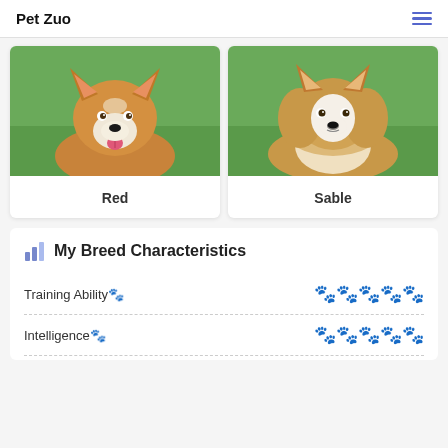Pet Zuo
[Figure (photo): Photo of a smiling Corgi dog with red and white fur on a green grass background, labeled 'Red']
[Figure (photo): Photo of a fluffy Sable colored Corgi/Sheltie dog on green grass, labeled 'Sable']
My Breed Characteristics
Training Ability🐾  🐾 🐾 🐾 🐾 🐾
Intelligence🐾  🐾 🐾 🐾 🐾 🐾